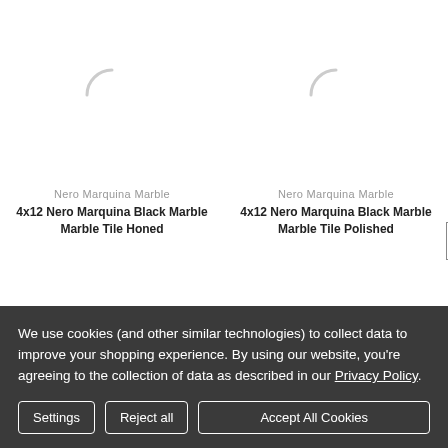[Figure (illustration): Loading spinner icon (gray arc) for product image placeholder - left product]
Nero Marquina Marble
4x12 Nero Marquina Black Marble Marble Tile Honed
[Figure (illustration): Loading spinner icon (gray arc) for product image placeholder - right product]
Nero Marquina Marble
4x12 Nero Marquina Black Marble Marble Tile Polished
We use cookies (and other similar technologies) to collect data to improve your shopping experience. By using our website, you're agreeing to the collection of data as described in our Privacy Policy.
Settings
Reject all
Accept All Cookies